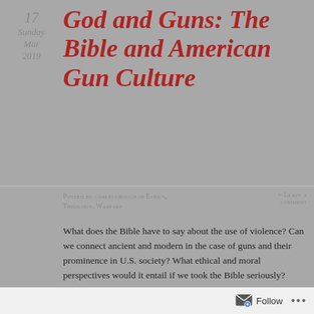17 Sunday Mar 2019
God and Guns: The Bible and American Gun Culture
Posted by carlylcrouch in Ethics, Theology, Warfare
≈ Leave a comment
What does the Bible have to say about the use of violence? Can we connect ancient and modern in the case of guns and their prominence in U.S. society? What ethical and moral perspectives would it entail if we took the Bible seriously?
Six internationally-recognised biblical scholars gathered at Fuller Seminary this weekend for a fantastic public discussion and conference about the